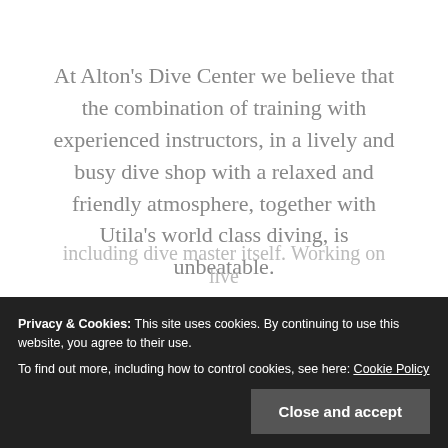At Alton's Dive Center we believe that the combination of training with experienced instructors, in a lively and busy dive shop with a relaxed and friendly atmosphere, together with Utila's world class diving, is unbeatable.
The divemaster certification is the first step on the professional diving profession. A...
including dive master itself. Working on live...
Privacy & Cookies: This site uses cookies. By continuing to use this website, you agree to their use.
To find out more, including how to control cookies, see here: Cookie Policy
Close and accept